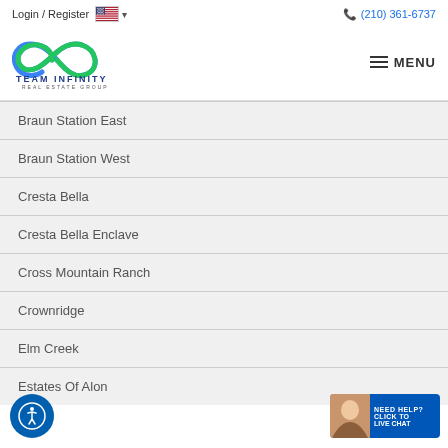Login / Register   (210) 361-6737   MENU
[Figure (logo): Team Infinity Real Estate Group logo with infinity symbol in blue and green]
Braun Station East
Braun Station West
Cresta Bella
Cresta Bella Enclave
Cross Mountain Ranch
Crownridge
Elm Creek
Estates Of Alon